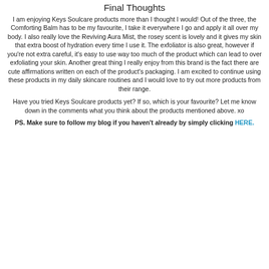Final Thoughts
I am enjoying Keys Soulcare products more than I thought I would! Out of the three, the Comforting Balm has to be my favourite, I take it everywhere I go and apply it all over my body. I also really love the Reviving Aura Mist, the rosey scent is lovely and it gives my skin that extra boost of hydration every time I use it. The exfoliator is also great, however if you're not extra careful, it's easy to use way too much of the product which can lead to over exfoliating your skin. Another great thing I really enjoy from this brand is the fact there are cute affirmations written on each of the product's packaging. I am excited to continue using these products in my daily skincare routines and I would love to try out more products from their range.
Have you tried Keys Soulcare products yet? If so, which is your favourite? Let me know down in the comments what you think about the products mentioned above. xo
PS. Make sure to follow my blog if you haven't already by simply clicking HERE.